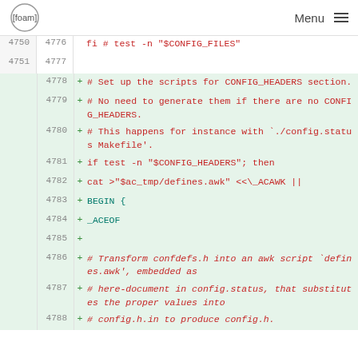[foam] Menu
| old line | new line | +/- | code |
| --- | --- | --- | --- |
| 4750 | 4776 |  | fi # test -n "$CONFIG_FILES" |
| 4751 | 4777 |  |  |
|  | 4778 | + | # Set up the scripts for CONFIG_HEADERS section. |
|  | 4779 | + | # No need to generate them if there are no CONFIG_HEADERS. |
|  | 4780 | + | # This happens for instance with `./config.status Makefile'. |
|  | 4781 | + | if test -n "$CONFIG_HEADERS"; then |
|  | 4782 | + | cat >"$ac_tmp/defines.awk" <<\_ACAWK || |
|  | 4783 | + | BEGIN { |
|  | 4784 | + | _ACEOF |
|  | 4785 | + |  |
|  | 4786 | + | # Transform confdefs.h into an awk script `defines.awk', embedded as |
|  | 4787 | + | # here-document in config.status, that substitutes the proper values into |
|  | 4788 | + | # config.h.in to produce config.h. |